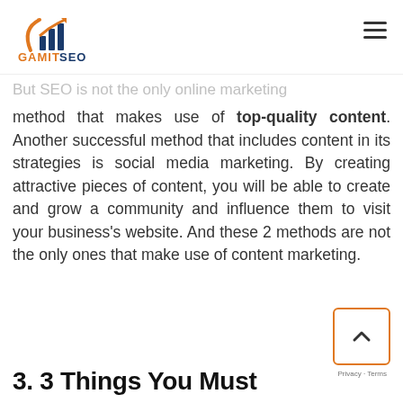GamitSEO logo and navigation
ranks of a website. You can't even have a pro SEO strategy that does not include high-quality content writing services.
But SEO is not the only online marketing method that makes use of top-quality content. Another successful method that includes content in its strategies is social media marketing. By creating attractive pieces of content, you will be able to create and grow a community and influence them to visit your business's website. And these 2 methods are not the only ones that make use of content marketing.
3. 3 Things You Must